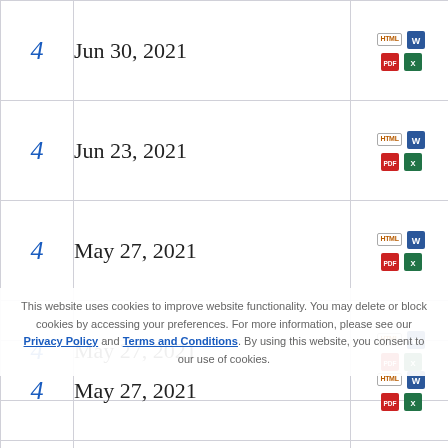|  | Date | Formats |
| --- | --- | --- |
| 4 | Jun 30, 2021 | HTML / Word / PDF / Excel |
| 4 | Jun 23, 2021 | HTML / Word / PDF / Excel |
| 4 | May 27, 2021 | HTML / Word / PDF / Excel |
| 4 | May 27, 2021 | HTML / Word / PDF / Excel |
| 4 | May 27, 2021 | HTML / Word / PDF / Excel |
| 4 | May 27, 2021 | HTML / Word / PDF / Excel |
This website uses cookies to improve website functionality. You may delete or block cookies by accessing your preferences. For more information, please see our Privacy Policy and Terms and Conditions. By using this website, you consent to our use of cookies.